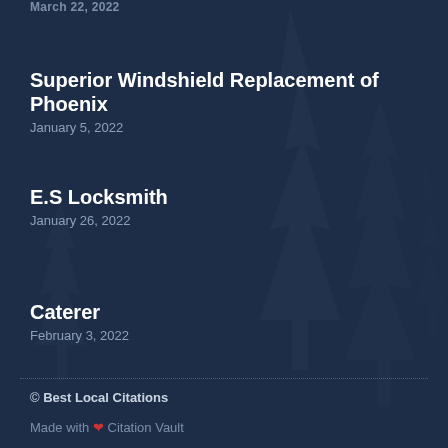March 22, 2022
Superior Windshield Replacement of Phoenix
January 5, 2022
E.S Locksmith
January 26, 2022
Caterer
February 3, 2022
© Best Local Citations
Made with ❤ Citation Vault